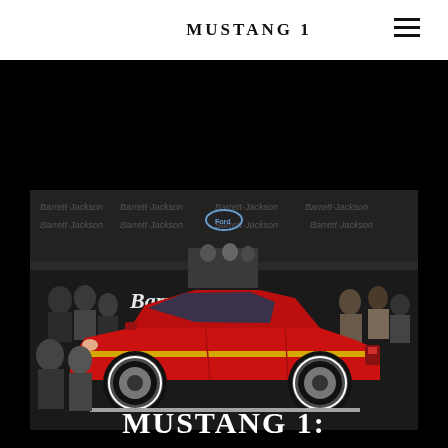MUSTANG 1
[Figure (photo): A red classic Ford Mustang Mach 1 on display at a Barrett-Jackson auction, surrounded by attendees and staff, with the Barrett-Jackson logo visible in the background.]
MUSTANG 1: